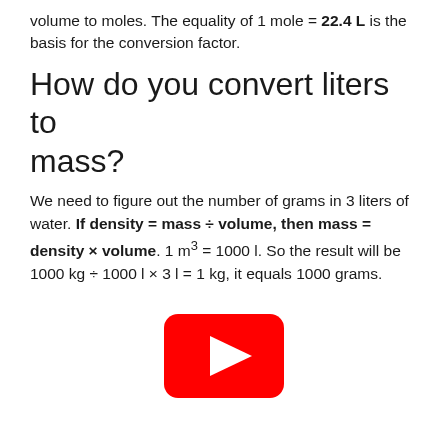volume to moles. The equality of 1 mole = 22.4 L is the basis for the conversion factor.
How do you convert liters to mass?
We need to figure out the number of grams in 3 liters of water. If density = mass ÷ volume, then mass = density × volume. 1 m³ = 1000 l. So the result will be 1000 kg ÷ 1000 l × 3 l = 1 kg, it equals 1000 grams.
[Figure (other): YouTube play button icon (red rounded rectangle with white triangle play arrow)]